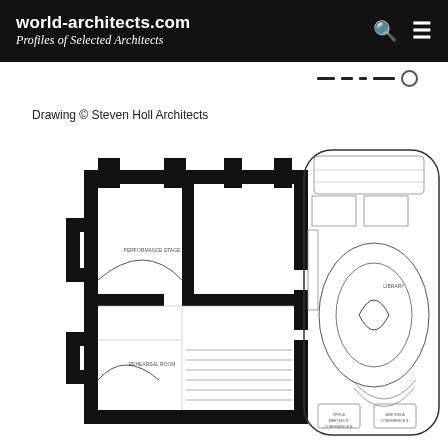world-architects.com
Profiles of Selected Architects
Drawing © Steven Holl Architects
[Figure (engineering-diagram): Architectural floor plan drawing showing two connected building sections: a left section with thick black walls in a traditional layout, and a right section with a rounded rectangular form containing curved interior spaces. The plan shows rooms, stairs, and spatial organization typical of an architectural floor plan. Drawing credited to Steven Holl Architects.]